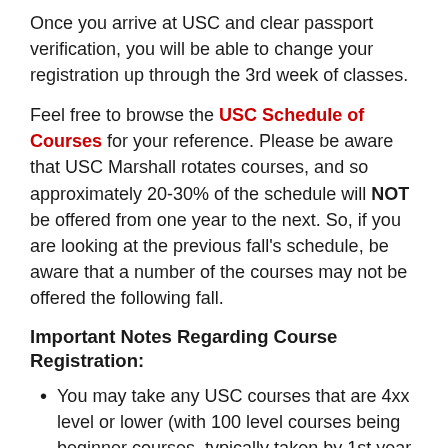Once you arrive at USC and clear passport verification, you will be able to change your registration up through the 3rd week of classes.
Feel free to browse the USC Schedule of Courses for your reference. Please be aware that USC Marshall rotates courses, and so approximately 20-30% of the schedule will NOT be offered from one year to the next. So, if you are looking at the previous fall's schedule, be aware that a number of the courses may not be offered the following fall.
Important Notes Regarding Course Registration:
You may take any USC courses that are 4xx level or lower (with 100 level courses being beginner courses, typically taken by 1st year students).